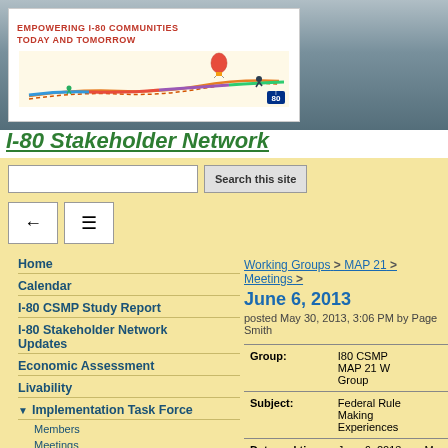[Figure (logo): I-80 Communities banner with colorful road illustration and text EMPOWERING I-80 COMMUNITIES TODAY AND TOMORROW]
I-80 Stakeholder Network
Search this site
Home
Calendar
I-80 CSMP Study Report
I-80 Stakeholder Network Updates
Economic Assessment
Livability
Implementation Task Force
Members
Meetings
Working Groups
Wildlife Crossings
Members
Meetings
Truck Parking
Members
Working Groups > MAP 21 > Meetings >
June 6, 2013
posted May 30, 2013, 3:06 PM by Page Smith
| Field | Value | Extra |
| --- | --- | --- |
| Group: | I80 CSMP MAP 21 W... Group |  |
| Subject: | Federal Rule Making... Experiences |  |
| Date and time: | June 6, 2013 2:00 P.M. PCST | Me... no: |
| Meeting | Teleconference | Mi... |